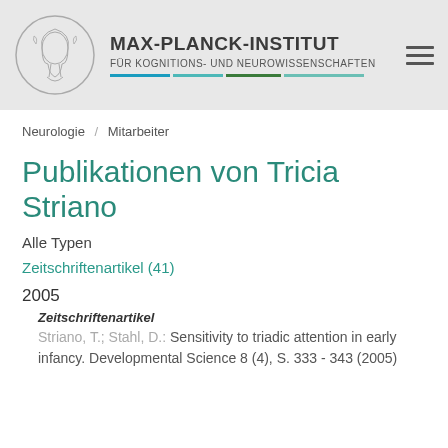MAX-PLANCK-INSTITUT FÜR KOGNITIONS- UND NEUROWISSENSCHAFTEN
Neurologie / Mitarbeiter
Publikationen von Tricia Striano
Alle Typen
Zeitschriftenartikel (41)
2005
Zeitschriftenartikel
Striano, T.; Stahl, D.: Sensitivity to triadic attention in early infancy. Developmental Science 8 (4), S. 333 - 343 (2005)